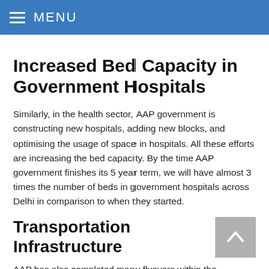MENU
Increased Bed Capacity in Government Hospitals
Similarly, in the health sector, AAP government is constructing new hospitals, adding new blocks, and optimising the usage of space in hospitals. All these efforts are increasing the bed capacity. By the time AAP government finishes its 5 year term, we will have almost 3 times the number of beds in government hospitals across Delhi in comparison to when they started.
Transportation Infrastructure
AAP has also completed many flyovers within the stipulated time period with an allocated budget to see...